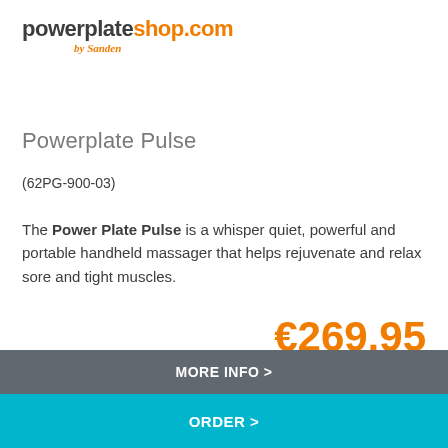[Figure (logo): powerplateshop.com by Sanden logo]
Powerplate Pulse
(62PG-900-03)
The Power Plate Pulse is a whisper quiet, powerful and portable handheld massager that helps rejuvenate and relax sore and tight muscles.
€269,95 (Incl. VAT)
MORE INFO >
ORDER >